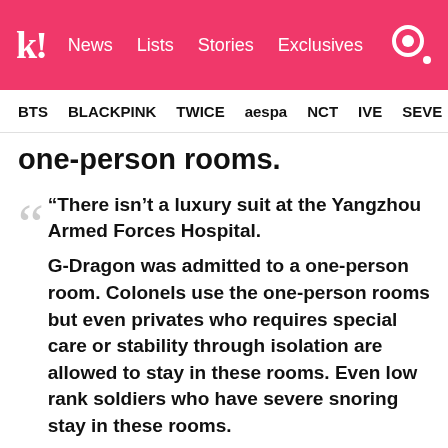k! News Lists Stories Exclusives
BTS BLACKPINK TWICE aespa NCT IVE SEVE
one-person rooms.
“There isn’t a luxury suit at the Yangzhou Armed Forces Hospital.

G-Dragon was admitted to a one-person room. Colonels use the one-person rooms but even privates who requires special care or stability through isolation are allowed to stay in these rooms. Even low rank soldiers who have severe snoring stay in these rooms.